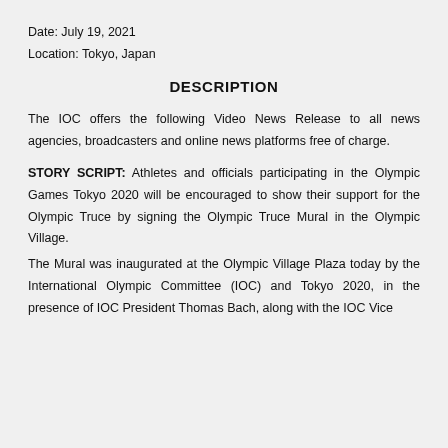Date: July 19, 2021
Location: Tokyo, Japan
DESCRIPTION
The IOC offers the following Video News Release to all news agencies, broadcasters and online news platforms free of charge.
STORY SCRIPT: Athletes and officials participating in the Olympic Games Tokyo 2020 will be encouraged to show their support for the Olympic Truce by signing the Olympic Truce Mural in the Olympic Village.
The Mural was inaugurated at the Olympic Village Plaza today by the International Olympic Committee (IOC) and Tokyo 2020, in the presence of IOC President Thomas Bach, along with the IOC Vice